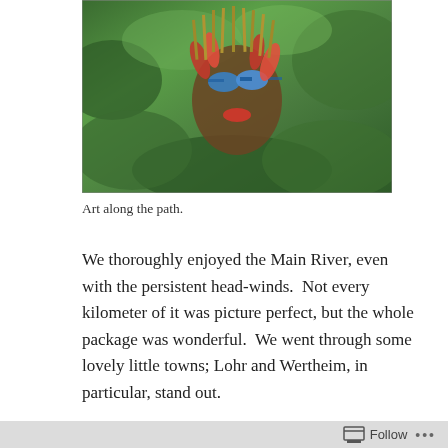[Figure (photo): A decorative mask or face sculpture with blue sunglasses and red decorations surrounded by green foliage, serving as art along a path.]
Art along the path.
We thoroughly enjoyed the Main River, even with the persistent head-winds.  Not every kilometer of it was picture perfect, but the whole package was wonderful.  We went through some lovely little towns; Lohr and Wertheim, in particular, stand out.
Despite our leisurely pace and easy days, we made it back to Frankfurt, with nine days to spare before Jeff’s chemo in Essen. We need to stay close to Essen, so decided to follow the road less traveled, the Lahn River route.  And this time we’re going with the
Follow